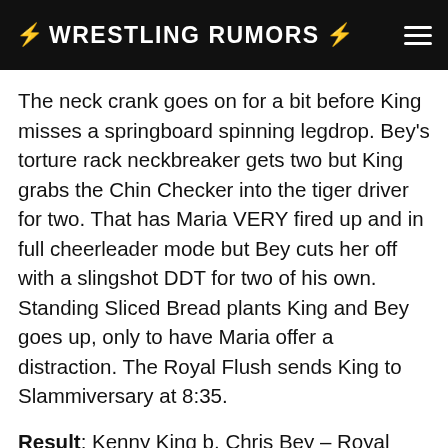⚡ WRESTLING RUMORS ⚡
The neck crank goes on for a bit before King misses a springboard spinning legdrop. Bey's torture rack neckbreaker gets two but King grabs the Chin Checker into the tiger driver for two. That has Maria VERY fired up and in full cheerleader mode but Bey cuts her off with a slingshot DDT for two of his own. Standing Sliced Bread plants King and Bey goes up, only to have Maria offer a distraction. The Royal Flush sends King to Slammiversary at 8:35.
Result: Kenny King b. Chris Bey – Royal Flush (8:35)
Gisele Shaw and Alisha Edwards don't seem to